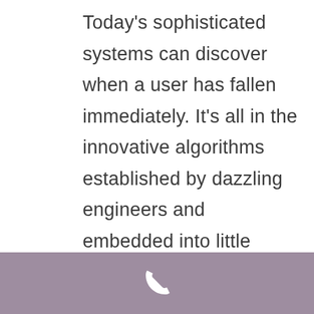Today's sophisticated systems can discover when a user has fallen immediately. It's all in the innovative algorithms established by dazzling engineers and embedded into little gadgets which are saving lives daily. These smart-systems can distinguish (in many cases) between when somebody has actually fallen, and when someone has chosen to take a seat suddenly.|The finest Medical alert systems have come a long method in the last 5 years. Today's innovative systems can detect when a user
[Figure (illustration): Phone handset icon in white on a muted purple/mauve footer bar]